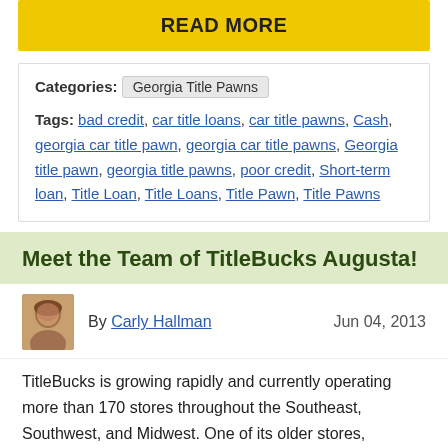READ MORE
Categories: Georgia Title Pawns
Tags: bad credit, car title loans, car title pawns, Cash, georgia car title pawn, georgia car title pawns, Georgia title pawn, georgia title pawns, poor credit, Short-term loan, Title Loan, Title Loans, Title Pawn, Title Pawns
Meet the Team of TitleBucks Augusta!
By Carly Hallman   Jun 04, 2013
TitleBucks is growing rapidly and currently operating more than 170 stores throughout the Southeast, Southwest, and Midwest. One of its older stores, TitleBucks of Augusta GA #1, recently moved to a new location! They are now located in the Lowe's shopping